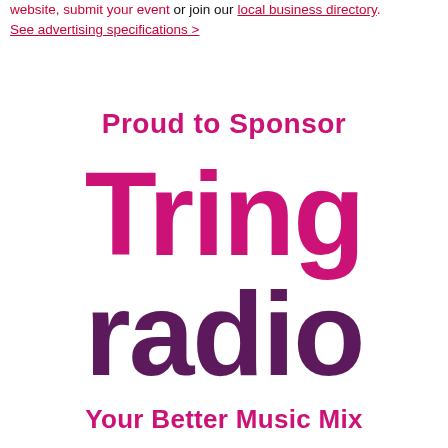website, submit your event or join our local business directory. See advertising specifications >
Proud to Sponsor
Tring radio
Your Better Music Mix